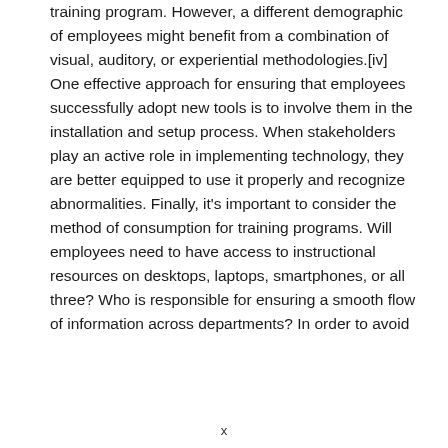training program. However, a different demographic of employees might benefit from a combination of visual, auditory, or experiential methodologies.[iv] One effective approach for ensuring that employees successfully adopt new tools is to involve them in the installation and setup process. When stakeholders play an active role in implementing technology, they are better equipped to use it properly and recognize abnormalities. Finally, it’s important to consider the method of consumption for training programs. Will employees need to have access to instructional resources on desktops, laptops, smartphones, or all three? Who is responsible for ensuring a smooth flow of information across departments? In order to avoid
x